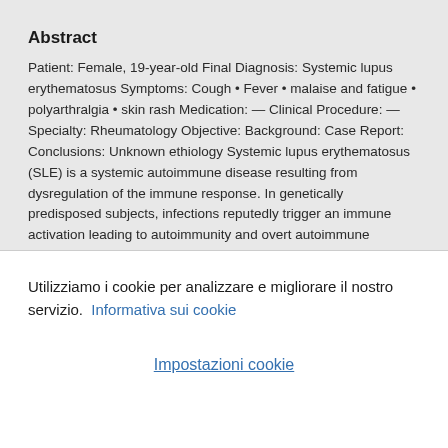Abstract
Patient: Female, 19-year-old Final Diagnosis: Systemic lupus erythematosus Symptoms: Cough • Fever • malaise and fatigue • polyarthralgia • skin rash Medication: — Clinical Procedure: — Specialty: Rheumatology Objective: Background: Case Report: Conclusions: Unknown ethiology Systemic lupus erythematosus (SLE) is a systemic autoimmune disease resulting from dysregulation of the immune response. In genetically predisposed subjects, infections reputedly trigger an immune activation leading to autoimmunity and overt autoimmune diseases such as SLE. We report the case of a 19-year-old woman who presented to our hospital reporting high-grade fever and...
Utilizziamo i cookie per analizzare e migliorare il nostro servizio.
Informativa sui cookie
Impostazioni cookie